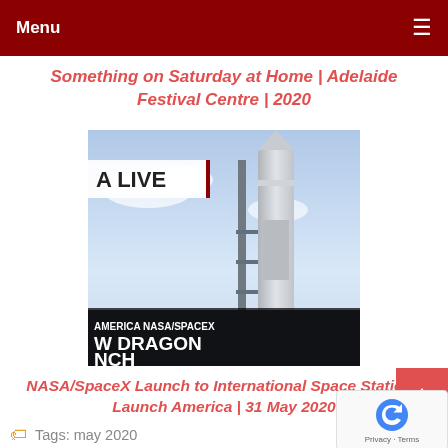Menu
Something on Saturday at Home | Adelaide Festival Centre | 2020
[Figure (screenshot): Screenshot of a live broadcast thumbnail showing a rocket on launch pad with text overlays: 'A LIVE', 'AMERICA NASA/SPACEX', 'W DRAGON', 'NCH']
NASA/SpaceX Launch to International Space Station | Launch America | 31 May 2020
Tags: may 2020